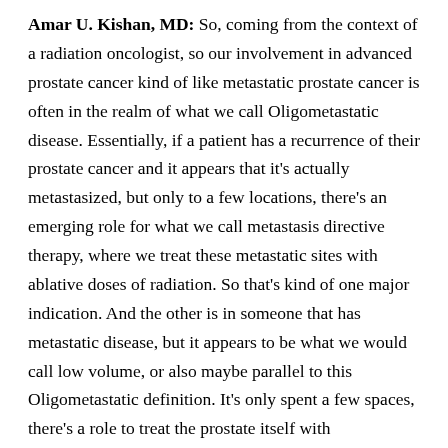Amar U. Kishan, MD: So, coming from the context of a radiation oncologist, so our involvement in advanced prostate cancer kind of like metastatic prostate cancer is often in the realm of what we call Oligometastatic disease. Essentially, if a patient has a recurrence of their prostate cancer and it appears that it's actually metastasized, but only to a few locations, there's an emerging role for what we call metastasis directive therapy, where we treat these metastatic sites with ablative doses of radiation. So that's kind of one major indication. And the other is in someone that has metastatic disease, but it appears to be what we would call low volume, or also maybe parallel to this Oligometastatic definition. It's only spent a few spaces, there's a role to treat the prostate itself with